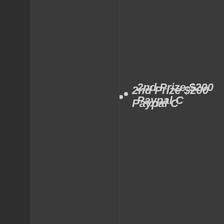2nd Prize $200 Paypal C
3rd Prize $150 Paypal Ca
4th Prize: $100 Paypal C